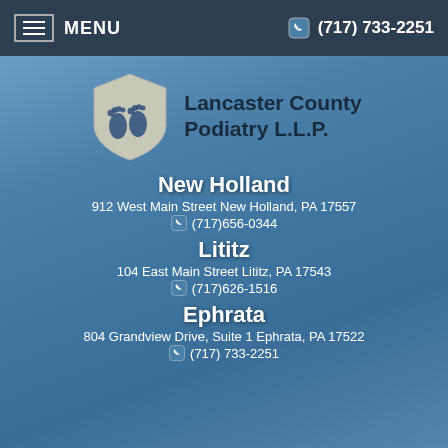MENU  (717) 733-2251
[Figure (logo): Lancaster County Podiatry L.L.P. logo with two blue footprints on a grey shield-shaped background, beside the text Lancaster County Podiatry L.L.P.]
New Holland
912 West Main Street New Holland, PA 17557
(717)656-0344
Lititz
104 East Main Street Lititz, PA 17543
(717)626-1516
Ephrata
804 Grandview Drive, Suite 1 Ephrata, PA 17522
(717) 733-2251